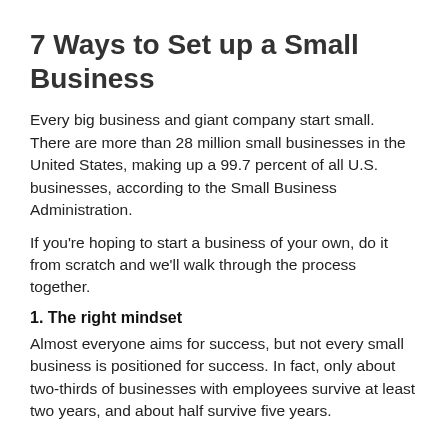7 Ways to Set up a Small Business
Every big business and giant company start small. There are more than 28 million small businesses in the United States, making up a 99.7 percent of all U.S. businesses, according to the Small Business Administration.
If you're hoping to start a business of your own, do it from scratch and we'll walk through the process together.
1. The right mindset
Almost everyone aims for success, but not every small business is positioned for success. In fact, only about two-thirds of businesses with employees survive at least two years, and about half survive five years.